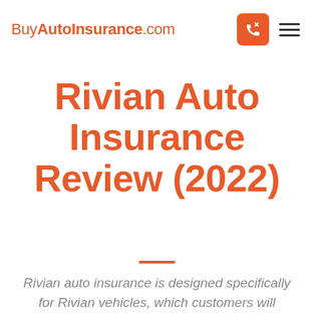BuyAutoInsurance.com
Rivian Auto Insurance Review (2022)
Rivian auto insurance is designed specifically for Rivian vehicles, which customers will receive in lots